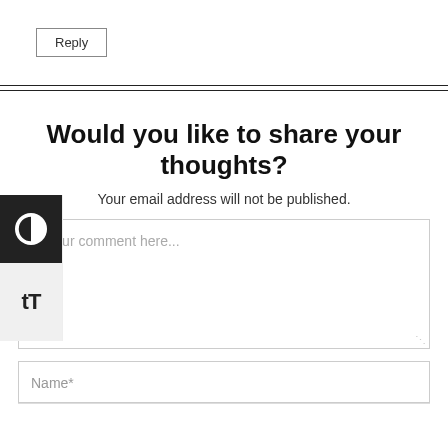Reply
Would you like to share your thoughts?
Your email address will not be published.
Enter your comment here...
Name*